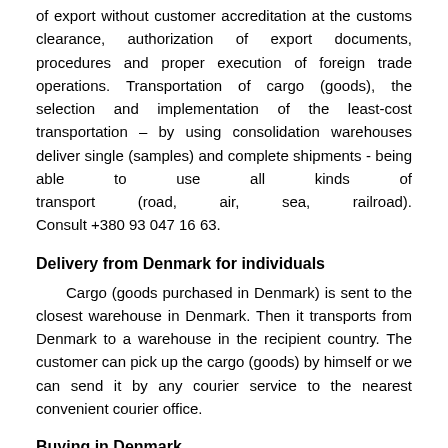of export without customer accreditation at the customs clearance, authorization of export documents, procedures and proper execution of foreign trade operations. Transportation of cargo (goods), the selection and implementation of the least-cost transportation – by using consolidation warehouses deliver single (samples) and complete shipments - being able to use all kinds of transport (road, air, sea, railroad). Consult +380 93 047 16 63.
Delivery from Denmark for individuals
Cargo (goods purchased in Denmark) is sent to the closest warehouse in Denmark. Then it transports from Denmark to a warehouse in the recipient country. The customer can pick up the cargo (goods) by himself or we can send it by any courier service to the nearest convenient courier office.
Buying in Denmark
We can buy in Denmark and deliver goods, spare parts